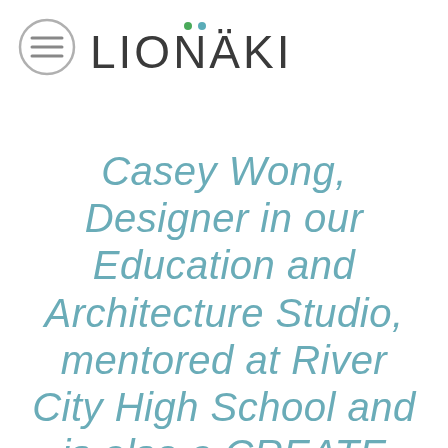[Figure (logo): Lionakis logo with hamburger menu icon on the left and LIONÄKIS text on the right with two small colored dots (green and teal) above the A]
Casey Wong, Designer in our Education and Architecture Studio, mentored at River City High School and is also a CREATE Alum himself! Casey worked as a summer intern at Lionakis last year and upon